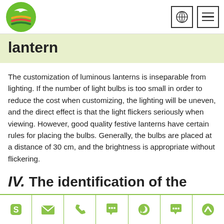lantern
The customization of luminous lanterns is inseparable from lighting. If the number of light bulbs is too small in order to reduce the cost when customizing, the lighting will be uneven, and the direct effect is that the light flickers seriously when viewing. However, good quality festive lanterns have certain rules for placing the bulbs. Generally, the bulbs are placed at a distance of 30 cm, and the brightness is appropriate without flickering.
IV. The identification of the size and